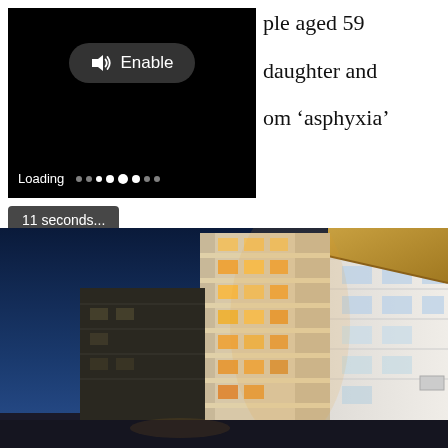[Figure (screenshot): Video player with black screen, Enable audio button, and loading indicator showing dots]
ple aged 59
daughter and
om ‘asphyxia’
11 seconds...
[Figure (photo): Night-time photograph of a modern illuminated multi-storey apartment or hotel building with balconies, against a deep blue sky, with an awning visible on the right]